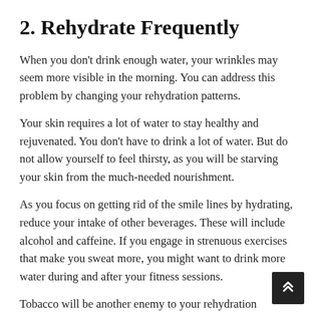2. Rehydrate Frequently
When you don't drink enough water, your wrinkles may seem more visible in the morning. You can address this problem by changing your rehydration patterns.
Your skin requires a lot of water to stay healthy and rejuvenated. You don't have to drink a lot of water. But do not allow yourself to feel thirsty, as you will be starving your skin from the much-needed nourishment.
As you focus on getting rid of the smile lines by hydrating, reduce your intake of other beverages. These will include alcohol and caffeine. If you engage in strenuous exercises that make you sweat more, you might want to drink more water during and after your fitness sessions.
Tobacco will be another enemy to your rehydration